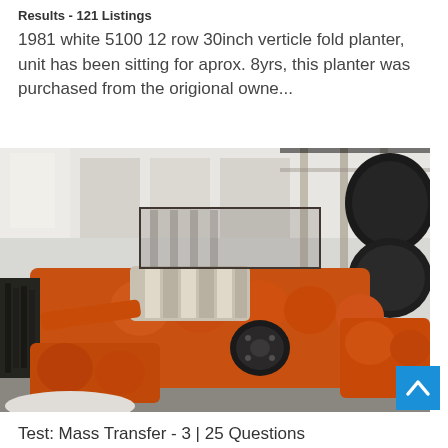Results - 121 Listings
1981 white 5100 12 row 30inch verticle fold planter, unit has been sitting for aprox. 8yrs, this planter was purchased from the origional owne...
[Figure (photo): Industrial machinery photo showing orange-colored heavy equipment with black wheels/rollers in a factory or warehouse setting with steel structures and concrete walls in the background.]
Test: Mass Transfer - 3 | 25 Questions